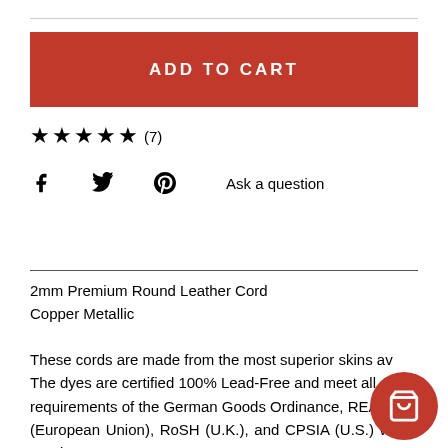[Figure (other): Red ADD TO CART button]
★★★★★ (7)
[Figure (other): Social share icons: Facebook, Twitter, Pinterest, and Ask a question link]
2mm Premium Round Leather Cord
Copper Metallic
These cords are made from the most superior skins av... The dyes are certified 100% Lead-Free and meet all requirements of the German Goods Ordinance, REACH (European Union), RoSH (U.K.), and CPSIA (U.S.) which require